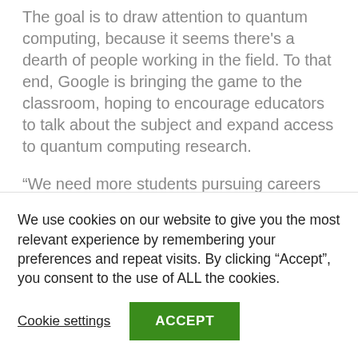The goal is to draw attention to quantum computing, because it seems there's a dearth of people working in the field. To that end, Google is bringing the game to the classroom, hoping to encourage educators to talk about the subject and expand access to quantum computing research.
“We need more students pursuing careers building or using quantum computers, and understanding what it would be like to be a
We use cookies on our website to give you the most relevant experience by remembering your preferences and repeat visits. By clicking “Accept”, you consent to the use of ALL the cookies.